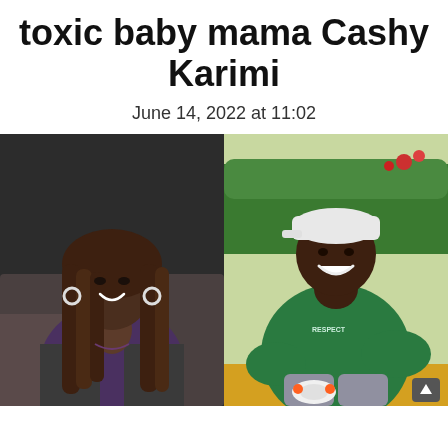toxic baby mama Cashy Karimi
June 14, 2022 at 11:02
[Figure (photo): Two side-by-side photos: left shows a smiling woman with long braided hair wearing a purple top and grey blazer seated on a sofa; right shows a smiling man in a green hoodie and grey sweatpants wearing a white cap, squatting outdoors near greenery holding white headphones.]